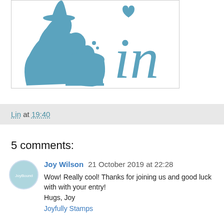[Figure (illustration): Teal/blue silhouette illustration of a witch stirring a cauldron with bubbles and a heart, plus decorative cursive letters 'in' in teal]
Lin at 19:40
5 comments:
Joy Wilson  21 October 2019 at 22:28
Wow! Really cool! Thanks for joining us and good luck with with your entry!
Hugs, Joy
Joyfully Stamps